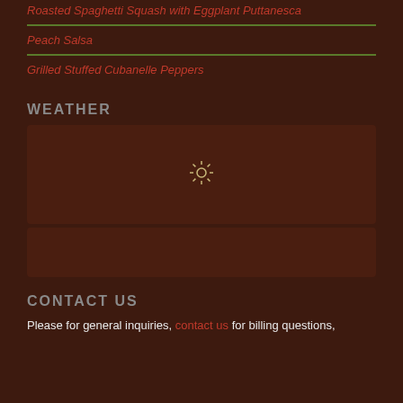Roasted Spaghetti Squash with Eggplant Puttanesca
Peach Salsa
Grilled Stuffed Cubanelle Peppers
WEATHER
[Figure (other): Weather widget loading spinner/sun icon]
CONTACT US
Please for general inquiries, contact us for billing questions,